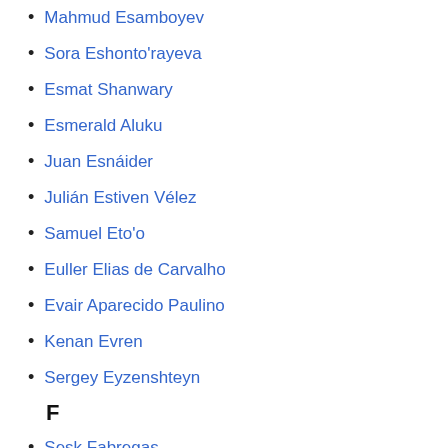Mahmud Esamboyev
Sora Eshonto'rayeva
Esmat Shanwary
Esmerald Aluku
Juan Esnáider
Julián Estiven Vélez
Samuel Eto'o
Euller Elias de Carvalho
Evair Aparecido Paulino
Kenan Evren
Sergey Eyzenshteyn
F
Sesk Fabregas